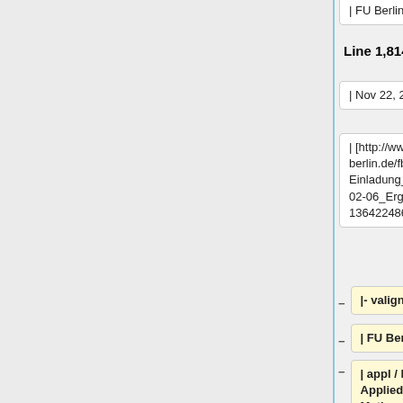| FU Berlin
| FU Berlin
Line 1,814:
Line 1,749:
| Nov 22, 2012
| Nov 22, 2012
| [http://www.mi.fu-berlin.de/fb/fbr/fbr_einladungen/FBR-Einladung_02_13_13-02-06_Erg_.pdf?1364224867]
| [http://www.mi.fu-berlin.de/fb/fbr/fbr_einladungen/FBR-Einladung_02_13_13-02-06_Erg_.pdf?1364224867]
|- valign=top
| FU Berlin
| appl / bioinf (W1) <!-- Applied Mathematics/Bioinformatics with special expertise in Modeling, Data Analysis and/or